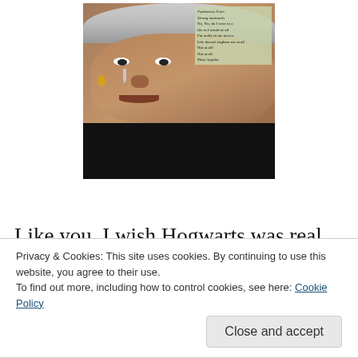[Figure (illustration): A painted portrait of a person with gray/white hair, brown skin with tear on cheek, wearing a black jacket. In the background upper right is a green/tan area with handwritten text reading quote attributed to Maya Angelou about not being afraid and life not frightening them at all.]
Like you, I wish Hogwarts was real. Magic should be a part of this world. If it were, I know in the deepest marrow of my bones, I would get sorted into Gryffindor, make the
Privacy & Cookies: This site uses cookies. By continuing to use this website, you agree to their use.
To find out more, including how to control cookies, see here: Cookie Policy
Close and accept